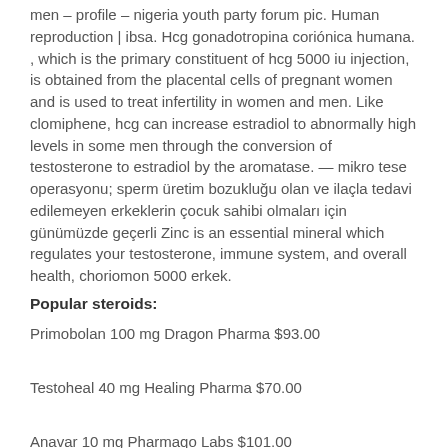men – profile – nigeria youth party forum pic. Human reproduction | ibsa. Hcg gonadotropina coriónica humana. , which is the primary constituent of hcg 5000 iu injection, is obtained from the placental cells of pregnant women and is used to treat infertility in women and men. Like clomiphene, hcg can increase estradiol to abnormally high levels in some men through the conversion of testosterone to estradiol by the aromatase. — mikro tese operasyonu; sperm üretim bozukluğu olan ve ilaçla tedavi edilemeyen erkeklerin çocuk sahibi olmaları için günümüzde geçerli Zinc is an essential mineral which regulates your testosterone, immune system, and overall health, choriomon 5000 erkek.
Popular steroids:
Primobolan 100 mg Dragon Pharma $93.00
Testoheal 40 mg Healing Pharma $70.00
Anavar 10 mg Pharmaqo Labs $101.00